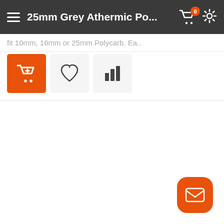25mm Grey Athermic Po...
fit 10mm, 16mm or 25mm Polycarb. Ea..
[Figure (screenshot): E-commerce product page showing a dark grey navigation bar with hamburger menu, product title '25mm Grey Athermic Po...', shopping cart icon with orange badge showing 0, and settings gear icon. Below are three action buttons: orange add-to-cart button, heart/wishlist button, and bar chart/compare button. A floating orange mail/contact FAB button appears in the bottom right corner.]